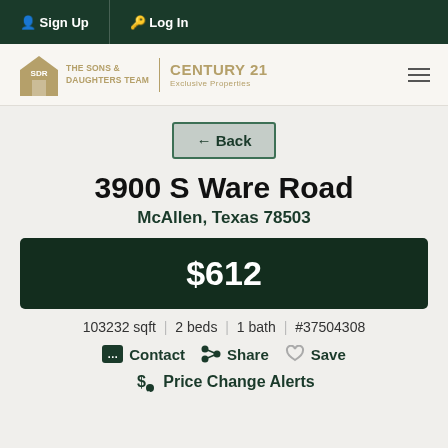Sign Up | Log In
[Figure (logo): The Sons & Daughters Team Century 21 Exclusive Properties logo with hamburger menu]
← Back
3900 S Ware Road
McAllen, Texas 78503
$612
103232 sqft | 2 beds | 1 bath | #37504308
Contact  Share  Save
Price Change Alerts